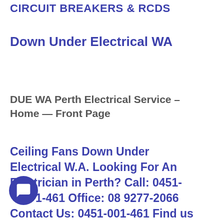CIRCUIT BREAKERS & RCDS
Down Under Electrical WA
DUE WA Perth Electrical Service – Home — Front Page
Ceiling Fans Down Under Electrical W.A. Looking For An Electrician in Perth? Call: 0451-001-461 Office: 08 9277-2066 Contact Us: 0451-001-461 Find us